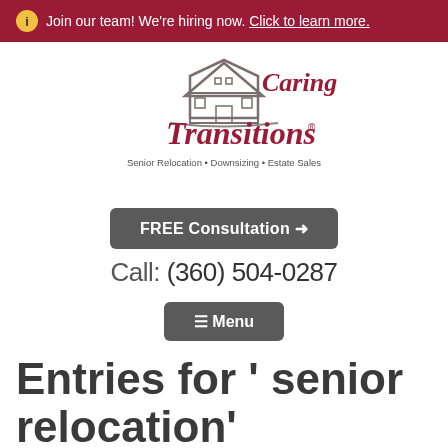ℹ Join our team! We're hiring now. Click to learn more.
[Figure (logo): Caring Transitions logo with house illustration and tagline: Senior Relocation • Downsizing • Estate Sales]
FREE Consultation →
Call: (360) 504-0287
≡ Menu
Entries for ' senior relocation'
Blog